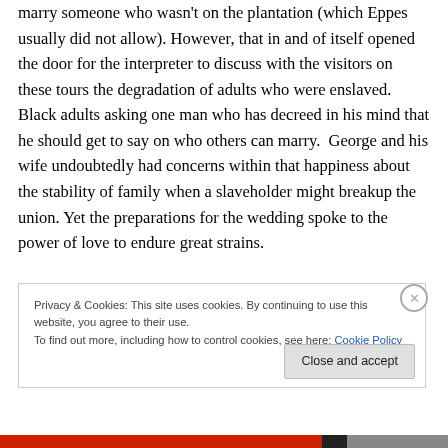marry someone who wasn't on the plantation (which Eppes usually did not allow). However, that in and of itself opened the door for the interpreter to discuss with the visitors on these tours the degradation of adults who were enslaved. Black adults asking one man who has decreed in his mind that he should get to say on who others can marry.  George and his wife undoubtedly had concerns within that happiness about the stability of family when a slaveholder might breakup the union. Yet the preparations for the wedding spoke to the power of love to endure great strains.
Privacy & Cookies: This site uses cookies. By continuing to use this website, you agree to their use.
To find out more, including how to control cookies, see here: Cookie Policy
Close and accept